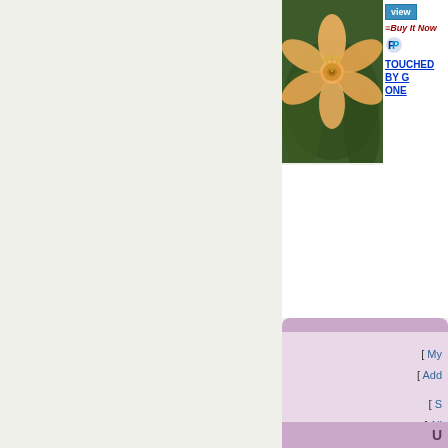[Figure (photo): Orange/peach daylily flower photo on dark green background]
[Figure (screenshot): View button (blue), Buy It Now button (red italic), PayPal icon]
TOUCHED BY G... ONE
[ My...
[ Add ...
[ S...
[ All...
U
You...